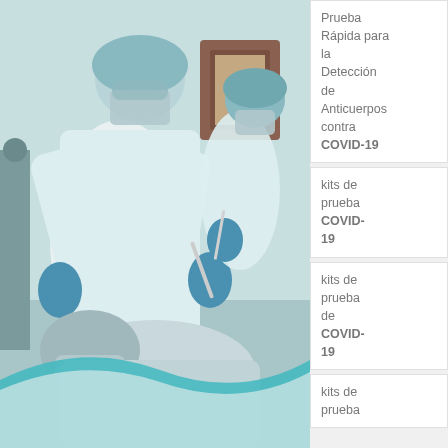[Figure (photo): Two medical professionals in full PPE (hairnets, masks, gloves, gowns) performing a procedure on a patient lying in a dental/medical chair. The setting appears to be a clinical room.]
Prueba Rápida para la Detección de Anticuerpos contra COVID-19
kits de prueba COVID-19
kits de prueba de COVID-19
kits de prueba